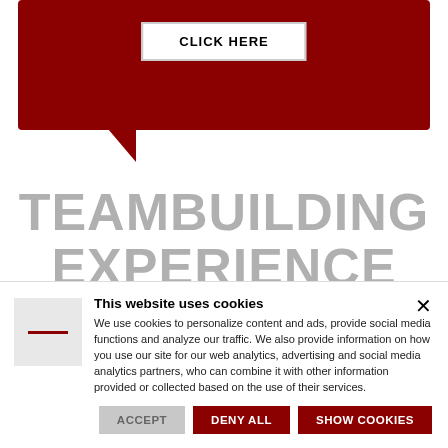[Figure (illustration): Dark red speech bubble banner with a white 'CLICK HERE' button inside]
TEAMBUILDING EXPERIENCE
The 1st Italian Teambuilding Company specialized in construction,
This website uses cookies
We use cookies to personalize content and ads, provide social media functions and analyze our traffic. We also provide information on how you use our site for our web analytics, advertising and social media analytics partners, who can combine it with other information provided or collected based on the use of their services.